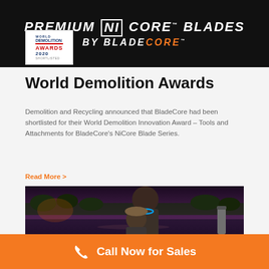[Figure (illustration): Black banner with text: PREMIUM NiCore BLADES BY BLADECORE, with World Demolition Awards 2020 Shortlisted badge overlaid]
World Demolition Awards
Demolition and Recycling announced that BladeCore had been shortlisted for their World Demolition Innovation Award – Tools and Attachments for BladeCore's NiCore Blade Series.
Read More >
[Figure (photo): Two people posing for a photo outdoors at dusk near water, one wearing a light-up necklace]
Call Now for Sales